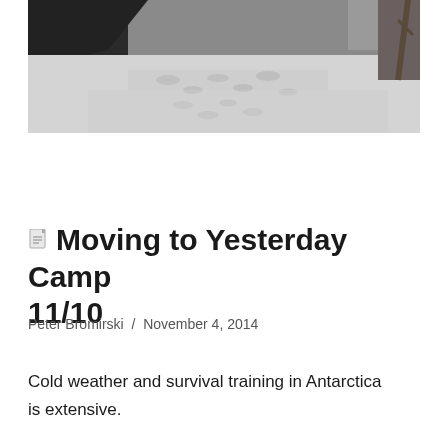[Figure (photo): Snowy outdoor scene with footprints in snow, dark rocky or forested areas in the background, partial view of a structure or person at right edge.]
Moving to Yesterday Camp 11/10
Peter Bromirski / November 4, 2014
Cold weather and survival training in Antarctica is extensive.